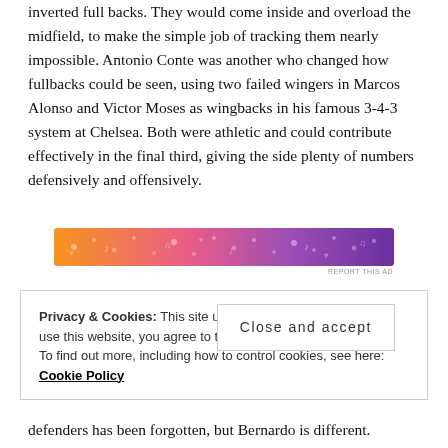inverted full backs. They would come inside and overload the midfield, to make the simple job of tracking them nearly impossible. Antonio Conte was another who changed how fullbacks could be seen, using two failed wingers in Marcos Alonso and Victor Moses as wingbacks in his famous 3-4-3 system at Chelsea. Both were athletic and could contribute effectively in the final third, giving the side plenty of numbers defensively and offensively.
[Figure (other): Decorative advertisement banner with gradient orange to purple colors and music/party symbols]
Privacy & Cookies: This site uses cookies. By continuing to use this website, you agree to their use. To find out more, including how to control cookies, see here: Cookie Policy
defenders has been forgotten, but Bernardo is different.